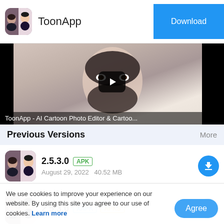ToonApp | Download
[Figure (screenshot): Video thumbnail showing a man's face being cartoon-transformed with play button overlay, captioned 'ToonApp - AI Cartoon Photo Editor & Cartoo...']
Previous Versions
More
[Figure (photo): ToonApp icon - real vs cartoon face]
2.5.3.0 APK
August 29, 2022   40.52 MB
[Figure (photo): ToonApp icon - real vs cartoon face]
2.5.3.0 XAPK APKS
We use cookies to improve your experience on our website. By using this site you agree to our use of cookies. Learn more
2.5.2.0